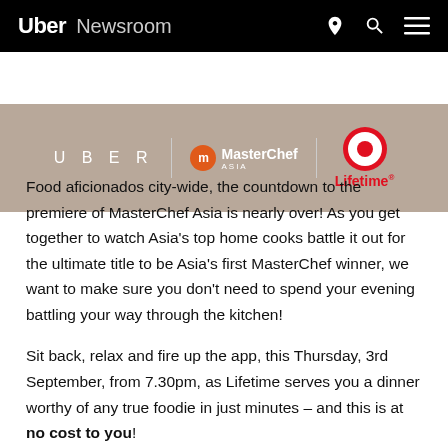Uber Newsroom
[Figure (photo): Banner image showing UBER | MasterChef Asia | Lifetime logos on a warm-toned background]
Food aficionados city-wide, the countdown to the premiere of MasterChef Asia is nearly over! As you get together to watch Asia's top home cooks battle it out for the ultimate title to be Asia's first MasterChef winner, we want to make sure you don't need to spend your evening battling your way through the kitchen!
Sit back, relax and fire up the app, this Thursday, 3rd September, from 7.30pm, as Lifetime serves you a dinner worthy of any true foodie in just minutes – and this is at no cost to you!